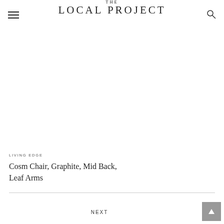THE LOCAL PROJECT
[Figure (other): Blank/white image area (product image placeholder)]
LIVING EDGE
Cosm Chair, Graphite, Mid Back, Leaf Arms
NEXT